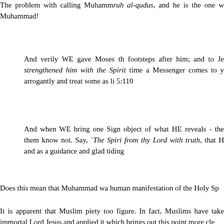The problem with calling Muhammad ruh al-qudus, and he is the one w... Muhammad!
And verily WE gave Moses the footsteps after him; and to Jesus strengthened him with the Spirit of time a Messenger comes to you arrogantly and treat some as lia... 5:110
And when WE bring one Sign object of what HE reveals - the them know not. Say, `The Spirit from thy Lord with truth, that H... and as a guidance and glad tiding...
Does this mean that Muhammad wa... human manifestation of the Holy Sp...
It is apparent that Muslim piety too... figure. In fact, Muslims have take... immortal Lord Jesus and applied it... which brings out this point more cle...
Everything was created and exists f...